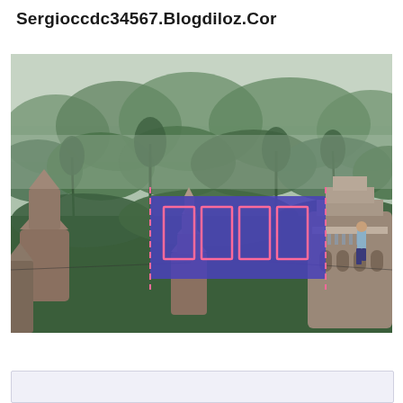Sergioccdc34567.Blogdiloz.Cor
[Figure (photo): Panoramic view of ancient Bagan temples and pagodas in Myanmar surrounded by lush green trees and misty haze. In the center of the image is an overlaid purple/blue rectangle containing four pink-outlined rectangle shapes arranged in a row. On either side of the rectangle are dashed pink vertical lines. A man stands on a temple structure at the right side of the image looking out at the landscape.]